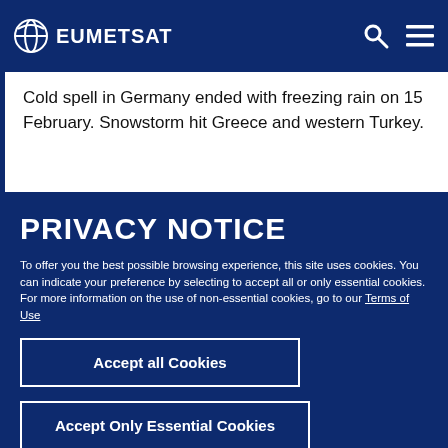EUMETSAT
Cold spell in Germany ended with freezing rain on 15 February. Snowstorm hit Greece and western Turkey.
PRIVACY NOTICE
To offer you the best possible browsing experience, this site uses cookies. You can indicate your preference by selecting to accept all or only essential cookies. For more information on the use of non-essential cookies, go to our Terms of Use
Accept all Cookies
Accept Only Essential Cookies